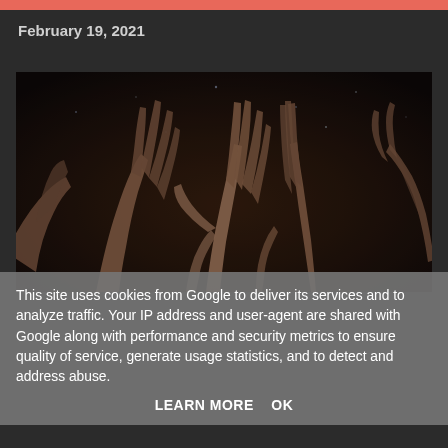February 19, 2021
[Figure (photo): Dark atmospheric photo showing multiple pairs of grasping hands reaching outward against a dark background with subtle sparkle/dust particle effects]
This site uses cookies from Google to deliver its services and to analyze traffic. Your IP address and user-agent are shared with Google along with performance and security metrics to ensure quality of service, generate usage statistics, and to detect and address abuse.
LEARN MORE    OK